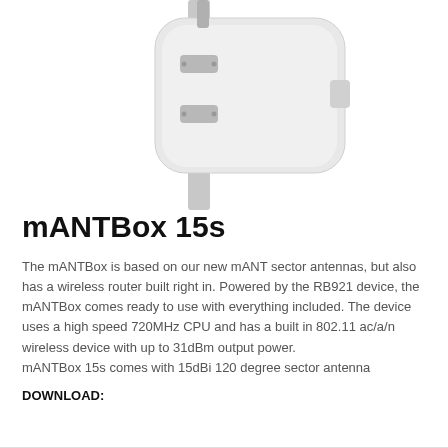[Figure (photo): Product photo of mANTBox 15s wireless sector antenna mounted on a pole, shown from the front/side, white housing, against white background]
mANTBox 15s
The mANTBox is based on our new mANT sector antennas, but also has a wireless router built right in. Powered by the RB921 device, the mANTBox comes ready to use with everything included. The device uses a high speed 720MHz CPU and has a built in 802.11 ac/a/n wireless device with up to 31dBm output power.
mANTBox 15s comes with 15dBi 120 degree sector antenna
DOWNLOAD: